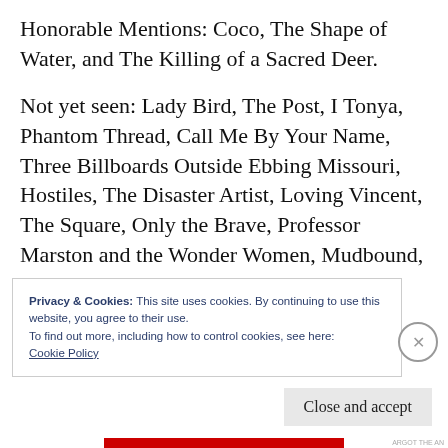Honorable Mentions: Coco, The Shape of Water, and The Killing of a Sacred Deer.
Not yet seen: Lady Bird, The Post, I Tonya, Phantom Thread, Call Me By Your Name, Three Billboards Outside Ebbing Missouri, Hostiles, The Disaster Artist, Loving Vincent, The Square, Only the Brave, Professor Marston and the Wonder Women, Mudbound, Good Time, Lucky, and many many more.
Privacy & Cookies: This site uses cookies. By continuing to use this website, you agree to their use.
To find out more, including how to control cookies, see here:
Cookie Policy
Close and accept